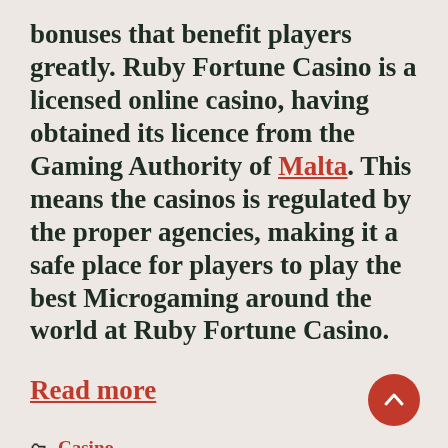bonuses that benefit players greatly. Ruby Fortune Casino is a licensed online casino, having obtained its licence from the Gaming Authority of Malta. This means the casinos is regulated by the proper agencies, making it a safe place for players to play the best Microgaming around the world at Ruby Fortune Casino.
Read more
Casino
casino games, gambling, gambling online, internet casino sites, online casino